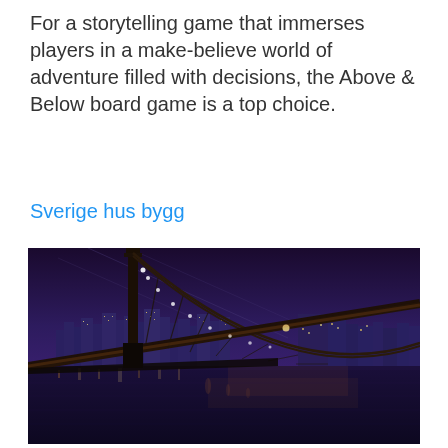For a storytelling game that immerses players in a make-believe world of adventure filled with decisions, the Above & Below board game is a top choice.
Sverige hus bygg
[Figure (photo): Nighttime photograph of a large suspension bridge (resembling the Brooklyn Bridge) shot from below and to the side, with a glowing city skyline in the background and calm water reflecting city lights in the foreground. The sky is deep purple-blue.]